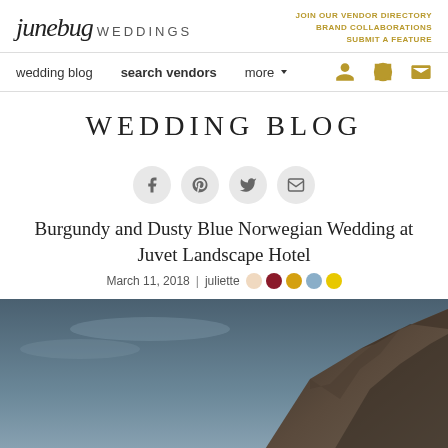junebug WEDDINGS | JOIN OUR VENDOR DIRECTORY | BRAND COLLABORATIONS | SUBMIT A FEATURE
wedding blog | search vendors | more
WEDDING BLOG
[Figure (infographic): Social sharing icons: Facebook, Pinterest, Twitter, Email — circular gray buttons]
Burgundy and Dusty Blue Norwegian Wedding at Juvet Landscape Hotel
March 11, 2018 | juliette [color swatches: cream, burgundy, gold, dusty blue, yellow]
[Figure (photo): Landscape photo of dramatic Norwegian rocky hillside with blue-gray sky, dark rocky mountain slope visible on right side]